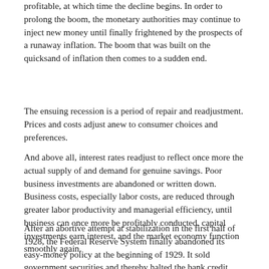profitable, at which time the decline begins. In order to prolong the boom, the monetary authorities may continue to inject new money until finally frightened by the prospects of a runaway inflation. The boom that was built on the quicksand of inflation then comes to a sudden end.
The ensuing recession is a period of repair and readjustment. Prices and costs adjust anew to consumer choices and preferences.
And above all, interest rates readjust to reflect once more the actual supply of and demand for genuine savings. Poor business investments are abandoned or written down. Business costs, especially labor costs, are reduced through greater labor productivity and managerial efficiency, until business can once more be profitably conducted, capital investments earn interest, and the market economy function smoothly again.
After an abortive attempt at stabilization in the first half of 1928, the Federal Reserve System finally abandoned its easy-money policy at the beginning of 1929. It sold government securities and thereby halted the bank credit expansion. It raised its discount rate to 6 percent in August 1929. Time money rates rose to 8 percent, commercial paper rates to 6